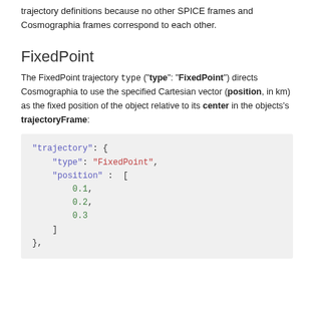trajectory definitions because no other SPICE frames and Cosmographia frames correspond to each other.
FixedPoint
The FixedPoint trajectory type (“type”: “FixedPoint”) directs Cosmographia to use the specified Cartesian vector (position, in km) as the fixed position of the object relative to its center in the objects’s trajectoryFrame:
"trajectory": {
    "type": "FixedPoint",
    "position" :  [
        0.1,
        0.2,
        0.3
    ]
},